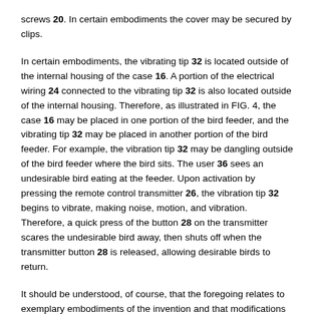screws 20. In certain embodiments the cover may be secured by clips.
In certain embodiments, the vibrating tip 32 is located outside of the internal housing of the case 16. A portion of the electrical wiring 24 connected to the vibrating tip 32 is also located outside of the internal housing. Therefore, as illustrated in FIG. 4, the case 16 may be placed in one portion of the bird feeder, and the vibrating tip 32 may be placed in another portion of the bird feeder. For example, the vibration tip 32 may be dangling outside of the bird feeder where the bird sits. The user 36 sees an undesirable bird eating at the feeder. Upon activation by pressing the remote control transmitter 26, the vibration tip 32 begins to vibrate, making noise, motion, and vibration. Therefore, a quick press of the button 28 on the transmitter scares the undesirable bird away, then shuts off when the transmitter button 28 is released, allowing desirable birds to return.
It should be understood, of course, that the foregoing relates to exemplary embodiments of the invention and that modifications may be made without departing from the spirit and scope of the invention as set forth in the following claims.